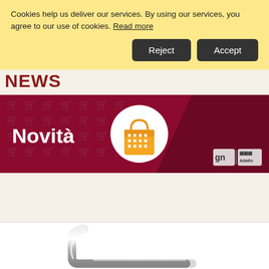Cookies help us deliver our services. By using our services, you agree to our use of cookies. Read more
[Figure (screenshot): Cookie consent banner with Reject and Accept buttons on yellow background]
NEWS
[Figure (illustration): Dark red banner with 'Novità' text in white, orange shopping bag icon in white circle, GastroNorm and Adatto logos bottom right]
[Figure (photo): Partial product image showing chrome/silver metal handle or bracket against white background]